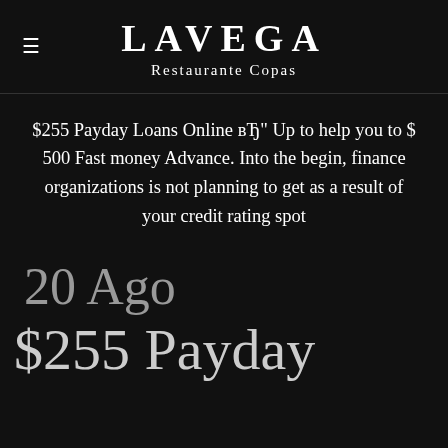LAVEGA Restaurante Copas
$255 Payday Loans Online вЂ" Up to help you to $ 500 Fast money Advance. Into the begin, finance organizations is not planning to get as a result of your credit rating spot
20 Ago
$255 Payday